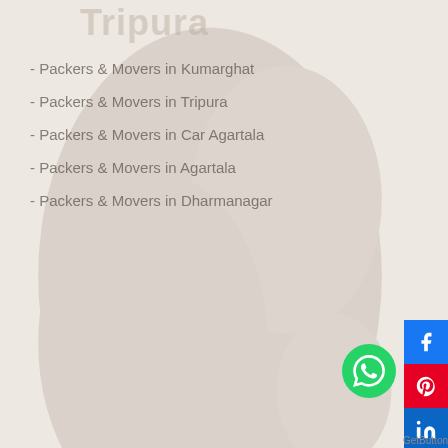Tripura
Packers & Movers in Kumarghat
Packers & Movers in Tripura
Packers & Movers in Car Agartala
Packers & Movers in Agartala
Packers & Movers in Dharmanagar
Arunachal Pradesh
Packers & Movers in Car Transport Arunachal Pradesh
Packers & Movers in Upper Subansiri Arunachal Pradesh
Packers & Movers in West Kameng Arunachal Pradesh
Packers & Movers in West Siang Arunachal Pradesh